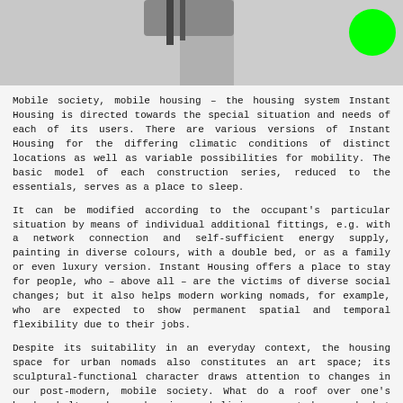[Figure (photo): Top portion of page showing a partial image (appears to be a black and white photo, cropped) with a bright green circle in the upper right corner.]
Mobile society, mobile housing – the housing system Instant Housing is directed towards the special situation and needs of each of its users. There are various versions of Instant Housing for the differing climatic conditions of distinct locations as well as variable possibilities for mobility. The basic model of each construction series, reduced to the essentials, serves as a place to sleep.
It can be modified according to the occupant's particular situation by means of individual additional fittings, e.g. with a network connection and self-sufficient energy supply, painting in diverse colours, with a double bed, or as a family or even luxury version. Instant Housing offers a place to stay for people, who – above all – are the victims of diverse social changes; but it also helps modern working nomads, for example, who are expected to show permanent spatial and temporal flexibility due to their jobs.
Despite its suitability in an everyday context, the housing space for urban nomads also constitutes an art space; its sculptural-functional character draws attention to changes in our post-modern, mobile society. What do a roof over one's head, shelter, home, housing and living mean today, and what will they mean in the future?